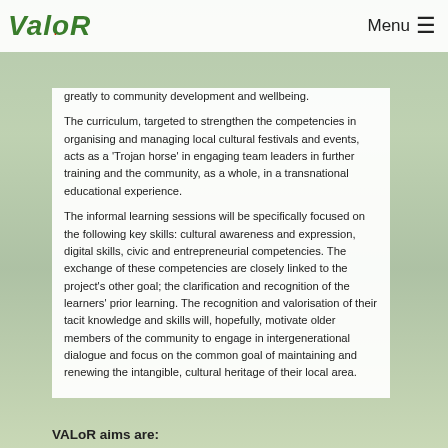VALoR — Menu
greatly to community development and wellbeing. The curriculum, targeted to strengthen the competencies in organising and managing local cultural festivals and events, acts as a 'Trojan horse' in engaging team leaders in further training and the community, as a whole, in a transnational educational experience.
The informal learning sessions will be specifically focused on the following key skills: cultural awareness and expression, digital skills, civic and entrepreneurial competencies. The exchange of these competencies are closely linked to the project's other goal; the clarification and recognition of the learners' prior learning. The recognition and valorisation of their tacit knowledge and skills will, hopefully, motivate older members of the community to engage in intergenerational dialogue and focus on the common goal of maintaining and renewing the intangible, cultural heritage of their local area.
VALoR aims are: